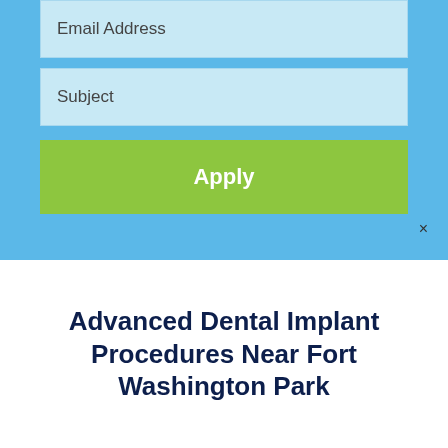Email Address
Subject
Apply
Advanced Dental Implant Procedures Near Fort Washington Park